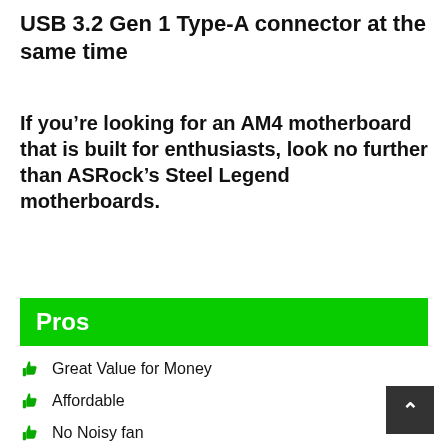USB 3.2 Gen 1 Type-A connector at the same time
If you’re looking for an AM4 motherboard that is built for enthusiasts, look no further than ASRock’s Steel Legend motherboards.
Pros
Great Value for Money
Affordable
No Noisy fan
USB 3.2 GEN 1 and Gen 2
Cons
No Wifi